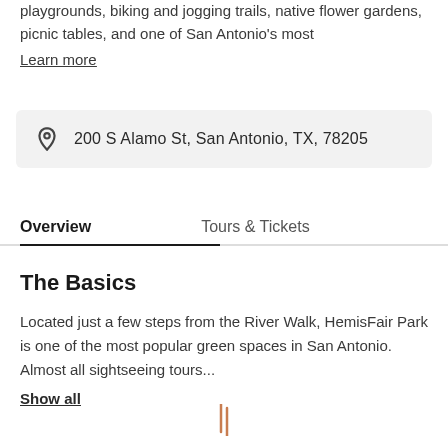playgrounds, biking and jogging trails, native flower gardens, picnic tables, and one of San Antonio's most
Learn more
200 S Alamo St, San Antonio, TX, 78205
Overview
Tours & Tickets
The Basics
Located just a few steps from the River Walk, HemisFair Park is one of the most popular green spaces in San Antonio. Almost all sightseeing tours...
Show all